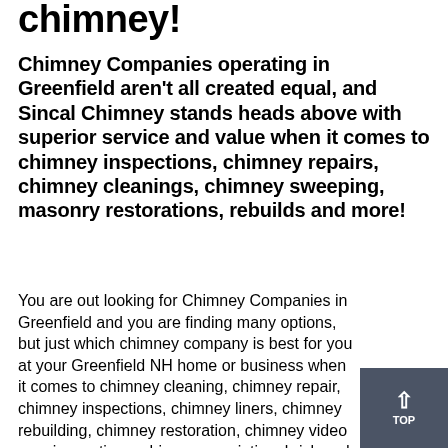chimney!
Chimney Companies operating in Greenfield aren't all created equal, and Sincal Chimney stands heads above with superior service and value when it comes to chimney inspections, chimney repairs, chimney cleanings, chimney sweeping, masonry restorations, rebuilds and more!
You are out looking for Chimney Companies in Greenfield and you are finding many options, but just which chimney company is best for you at your Greenfield NH home or business when it comes to chimney cleaning, chimney repair, chimney inspections, chimney liners, chimney rebuilding, chimney restoration, chimney video cam inspections, chimney repointing, brick and block rep more, the chimney sweeps and masons at Sincal Chimney